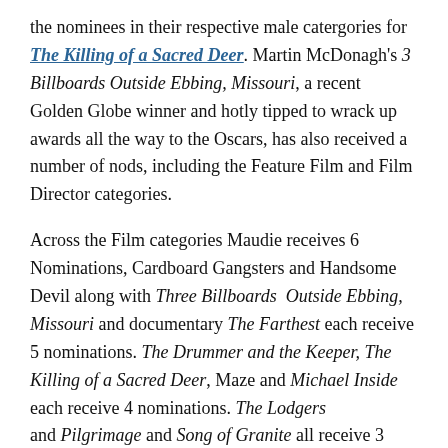the nominees in their respective male catergories for The Killing of a Sacred Deer. Martin McDonagh's 3 Billboards Outside Ebbing, Missouri, a recent Golden Globe winner and hotly tipped to wrack up awards all the way to the Oscars, has also received a number of nods, including the Feature Film and Film Director categories.
Across the Film categories Maudie receives 6 Nominations, Cardboard Gangsters and Handsome Devil along with Three Billboards Outside Ebbing, Missouri and documentary The Farthest each receive 5 nominations. The Drummer and the Keeper, The Killing of a Sacred Deer, Maze and Michael Inside each receive 4 nominations. The Lodgers and Pilgrimage and Song of Granite all receive 3 nominations each while Ladybird is nominated in its two categories.